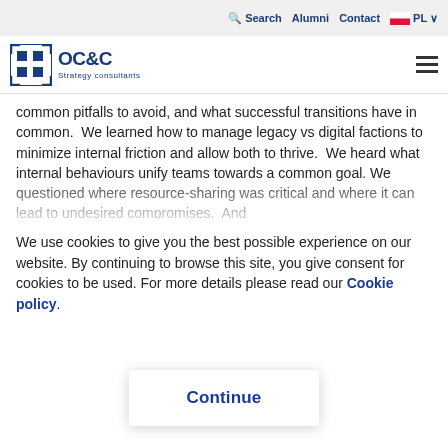Search  Alumni  Contact  PL
[Figure (logo): OC&C Strategy Consultants logo with bracket icon]
common pitfalls to avoid, and what successful transitions have in common.  We learned how to manage legacy vs digital factions to minimize internal friction and allow both to thrive.  We heard what internal behaviours unify teams towards a common goal. We questioned where resource-sharing was critical and where it can lead to undesired compromises.  And
We use cookies to give you the best possible experience on our website. By continuing to browse this site, you give consent for cookies to be used. For more details please read our Cookie policy.
Continue